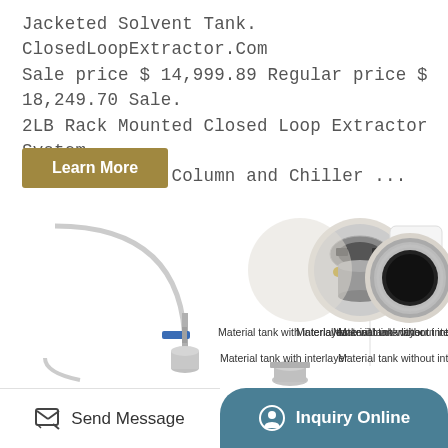Jacketed Solvent Tank. ClosedLoopExtractor.Com Sale price $ 14,999.89 Regular price $ 18,249.70 Sale. 2LB Rack Mounted Closed Loop Extractor System with Dewaxing Column and Chiller ...
Learn More
[Figure (photo): Product images showing a closed loop extractor system with flexible tubing and valve on the left, a circular close-up of material tank with interlayer in the center, a circular close-up of material tank without interlining with TOP button on the right, and partial views of additional components below.]
Material tank with interlayer
Material tank without interlining
Send Message
Inquiry Online